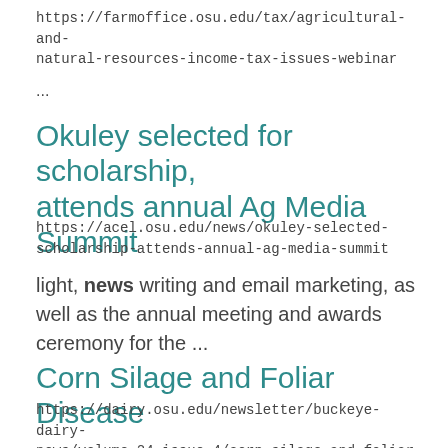https://farmoffice.osu.edu/tax/agricultural-and-natural-resources-income-tax-issues-webinar
...
Okuley selected for scholarship, attends annual Ag Media Summit
https://acel.osu.edu/news/okuley-selected-scholarship-attends-annual-ag-media-summit
light, news writing and email marketing, as well as the annual meeting and awards ceremony for the ...
Corn Silage and Foliar Disease
https://dairy.osu.edu/newsletter/buckeye-dairy-news/volume-24-issue-4/corn-silage-and-foliar-disease
...brought to you by Extension Educat...